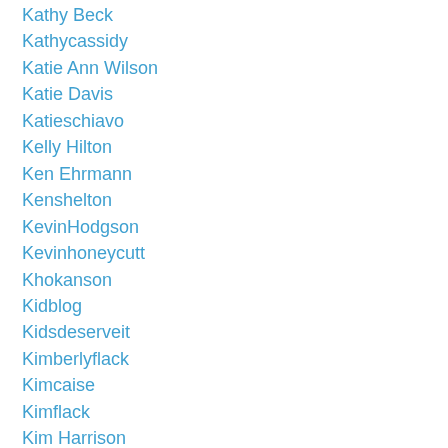Kathy Beck
Kathycassidy
Katie Ann Wilson
Katie Davis
Katieschiavo
Kelly Hilton
Ken Ehrmann
Kenshelton
KevinHodgson
Kevinhoneycutt
Khokanson
Kidblog
Kidsdeserveit
Kimberlyflack
Kimcaise
Kimflack
Kim Harrison
Kim Strobel
Kim Thomas
Kindergarten
Kori Street